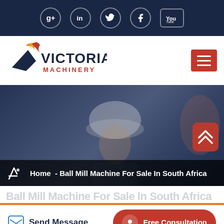Social media icons bar: Google+, LinkedIn, Twitter, Facebook, YouTube
[Figure (logo): Victoria Machinery logo with flame/arrow icon in navy and red, company name in dark navy and red text]
[Figure (photo): Hero background photo of a construction worker in white hard hat looking upward, with a dark navy overlay. Another person partially visible on the right.]
Home - Ball Mill Machine For Sale In South Africa
Ball Mill Machine For Sale In South Africa
Send Message
Free Consultation